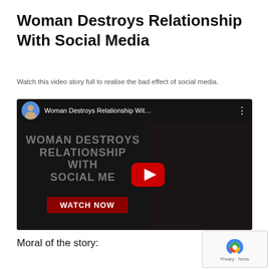Woman Destroys Relationship With Social Media
Watch this video story full to realise the bad effect of social media.
[Figure (screenshot): YouTube video thumbnail showing 'Woman Destroys Relationship Wit...' with a play button, WATCH NOW button, and profile avatar. Dark background with people in distress on the right side.]
Moral of the story: